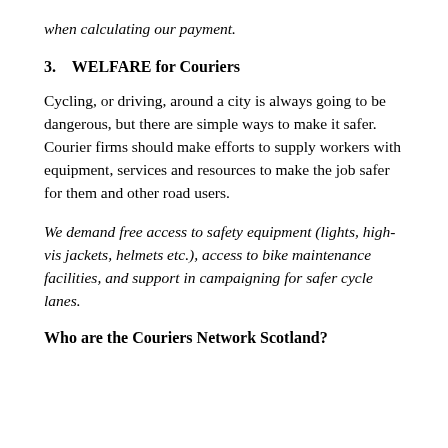when calculating our payment.
3.    WELFARE for Couriers
Cycling, or driving, around a city is always going to be dangerous, but there are simple ways to make it safer. Courier firms should make efforts to supply workers with equipment, services and resources to make the job safer for them and other road users.
We demand free access to safety equipment (lights, high-vis jackets, helmets etc.), access to bike maintenance facilities, and support in campaigning for safer cycle lanes.
Who are the Couriers Network Scotland?